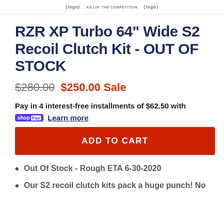Logo header area with brand logos
RZR XP Turbo 64" Wide S2 Recoil Clutch Kit - OUT OF STOCK
$280.00  $250.00 Sale
Pay in 4 interest-free installments of $62.50 with
shop Pay  Learn more
ADD TO CART
Out Of Stock - Rough ETA 6-30-2020
Our S2 recoil clutch kits pack a huge punch! No